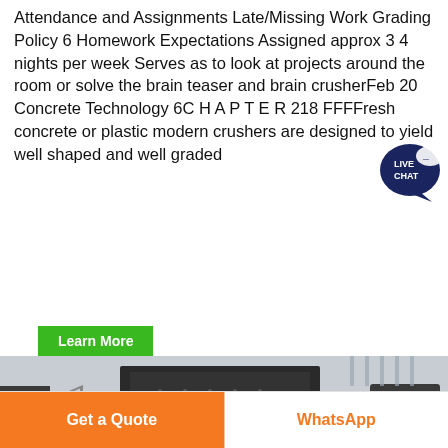Attendance and Assignments Late/Missing Work Grading Policy 6 Homework Expectations Assigned approx 3 4 nights per week Serves as to look at projects around the room or solve the brain teaser and brain crusherFeb 20 Concrete Technology 6C H A P T E R 218 FFFFresh concrete or plastic modern crushers are designed to yield well shaped and well graded
[Figure (other): Live Chat bubble icon in dark navy/teal color with speech bubble, labeled LIVE CHAT]
Learn More
[Figure (photo): Industrial crusher machines displayed in a large exhibition hall. A large black jaw crusher in the center, a cone crusher on the right, and another crusher on the left. Orange/brown flywheel visible on the central machine.]
Get a Quote
WhatsApp